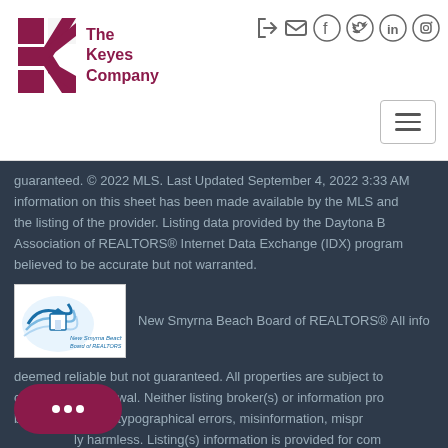[Figure (logo): The Keyes Company logo with red K graphic and maroon text]
[Figure (screenshot): Social media icons: login, email, facebook, twitter, linkedin, instagram]
[Figure (other): Hamburger menu button]
guaranteed. © 2022 MLS. Last Updated September 4, 2022 3:33 AM information on this sheet has been made available by the MLS and the listing of the provider. Listing data provided by the Daytona B Association of REALTORS® Internet Data Exchange (IDX) program believed to be accurate but not warranted.
[Figure (logo): New Smyrna Beach Board of REALTORS logo]
New Smyrna Beach Board of REALTORS® All info
deemed reliable but not guaranteed. All properties are subject to change or withdrawal. Neither listing broker(s) or information pro b ible for any typographical errors, misinformation, misp ly harmless. Listing(s) information is provided for com personal, non-commercial use and may not be used for any purpo